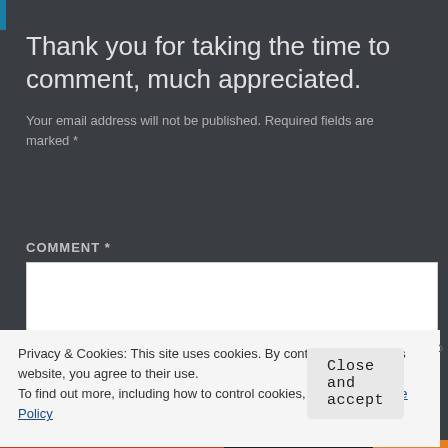Thank you for taking the time to comment, much appreciated.
Your email address will not be published. Required fields are marked *
COMMENT *
Privacy & Cookies: This site uses cookies. By continuing to use this website, you agree to their use.
To find out more, including how to control cookies, see here: Cookie Policy
Close and accept